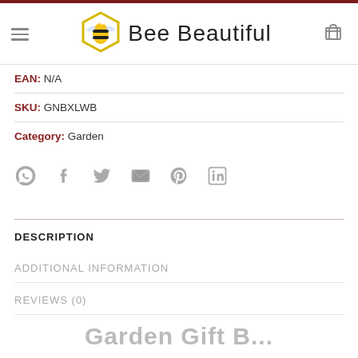Bee Beautiful
EAN: N/A
SKU: GNBXLWB
Category: Garden
[Figure (infographic): Social share icons: WhatsApp, Facebook, Twitter, Email, Pinterest, LinkedIn]
DESCRIPTION
ADDITIONAL INFORMATION
REVIEWS (0)
Garden Gift B...